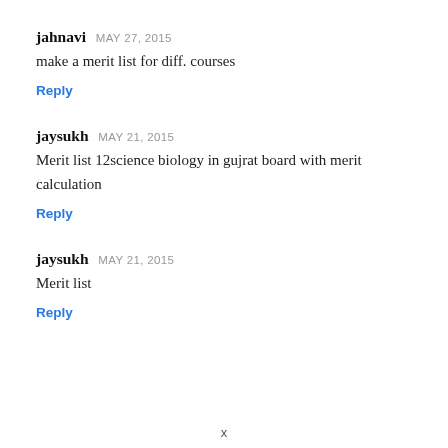jahnavi MAY 27, 2015
make a merit list for diff. courses
Reply
jaysukh MAY 21, 2015
Merit list 12science biology in gujrat board with merit calculation
Reply
jaysukh MAY 21, 2015
Merit list
Reply
x